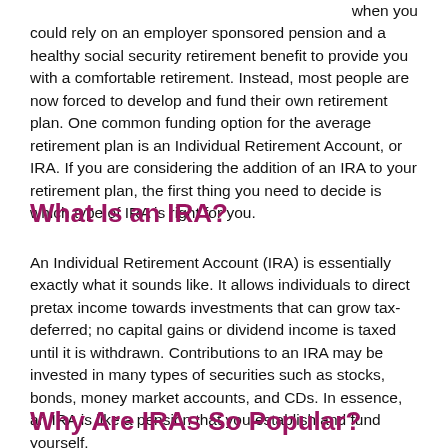when you could rely on an employer sponsored pension and a healthy social security retirement benefit to provide you with a comfortable retirement. Instead, most people are now forced to develop and fund their own retirement plan. One common funding option for the average retirement plan is an Individual Retirement Account, or IRA. If you are considering the addition of an IRA to your retirement plan, the first thing you need to decide is which type of IRA is right for you.
What Is an IRA?
An Individual Retirement Account (IRA) is essentially exactly what it sounds like. It allows individuals to direct pretax income towards investments that can grow tax-deferred; no capital gains or dividend income is taxed until it is withdrawn. Contributions to an IRA may be invested in many types of securities such as stocks, bonds, money market accounts, and CDs. In essence, an IRA is like a pension that you establish and fund yourself.
Why Are IRAs So Popular?